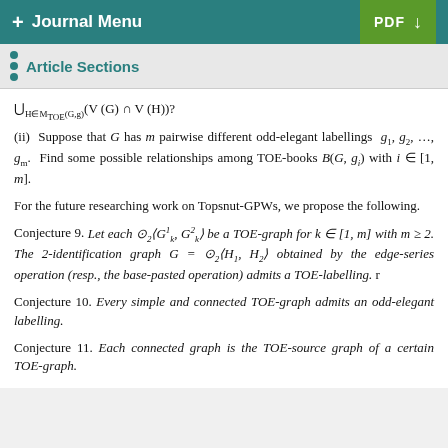+ Journal Menu   PDF ↓
Article Sections
(ii) Suppose that G has m pairwise different odd-elegant labellings g₁, g₂, …, gₘ. Find some possible relationships among TOE-books B(G, gᵢ) with i ∈ [1, m].
For the future researching work on Topsnut-GPWs, we propose the following.
Conjecture 9. Let each ⊙₂⟨G¹ₖ, G²ₖ⟩ be a TOE-graph for k ∈ [1, m] with m ≥ 2. The 2-identification graph G = ⊙₂⟨H₁, H₂⟩ obtained by the edge-series operation (resp., the base-pasted operation) admits a TOE-labelling. r
Conjecture 10. Every simple and connected TOE-graph admits an odd-elegant labelling.
Conjecture 11. Each connected graph is the TOE-source graph of a certain TOE-graph.